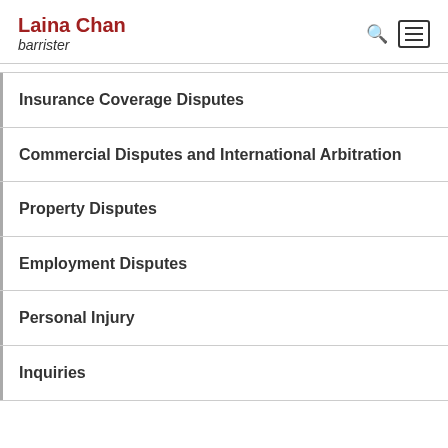Laina Chan barrister
Insurance Coverage Disputes
Commercial Disputes and International Arbitration
Property Disputes
Employment Disputes
Personal Injury
Inquiries